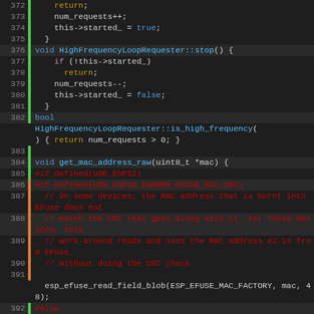[Figure (screenshot): Code editor screenshot showing C++ source code lines 372-399, featuring HighFrequencyLoopRequester class methods (stop, is_high_frequency) and get_mac_address_raw function with ESP32/ESP8266 preprocessor conditionals. Syntax highlighted with dark background.]